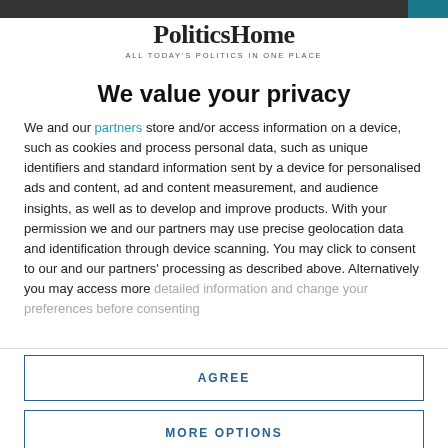[Figure (logo): PoliticsHome logo with tagline 'ALL TODAY'S POLITICS IN ONE PLACE']
We value your privacy
We and our partners store and/or access information on a device, such as cookies and process personal data, such as unique identifiers and standard information sent by a device for personalised ads and content, ad and content measurement, and audience insights, as well as to develop and improve products. With your permission we and our partners may use precise geolocation data and identification through device scanning. You may click to consent to our and our partners' processing as described above. Alternatively you may access more detailed information and change your preferences before consenting
AGREE
MORE OPTIONS
authorities with the National Health Service, the police and